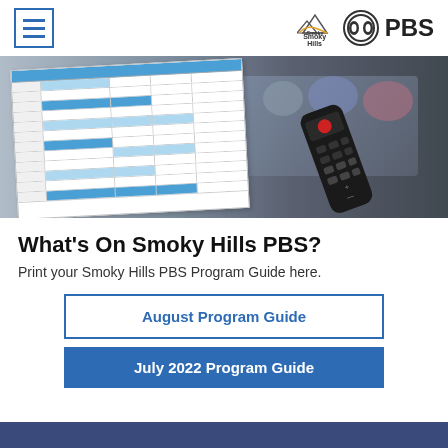[Figure (logo): Hamburger menu icon (three horizontal blue lines in a blue-bordered square) and Smoky Hills PBS logo in the header navigation bar]
[Figure (photo): Hero image showing a TV program schedule grid on the left and a TV remote control pointing at a blurred smart TV screen on the right]
What's On Smoky Hills PBS?
Print your Smoky Hills PBS Program Guide here.
August Program Guide
July 2022 Program Guide